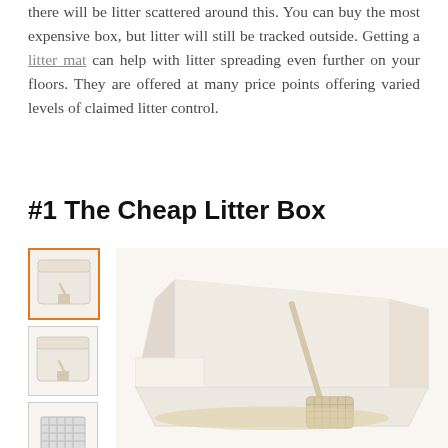there will be litter scattered around this. You can buy the most expensive box, but litter will still be tracked outside. Getting a litter mat can help with litter spreading even further on your floors. They are offered at many price points offering varied levels of claimed litter control.
#1 The Cheap Litter Box
[Figure (photo): Product photo of a white plastic cat litter box with high sides and a scoop inside, shown from an angle. Four thumbnail images on the left show different views of the same product.]